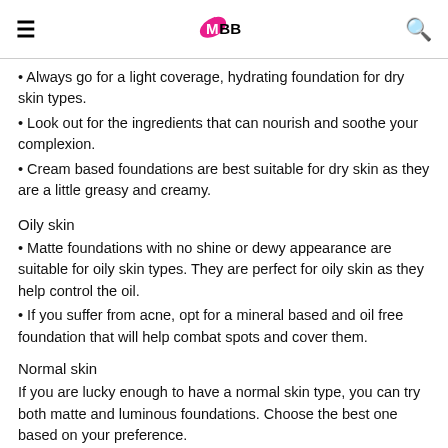IMBB
Always go for a light coverage, hydrating foundation for dry skin types.
Look out for the ingredients that can nourish and soothe your complexion.
Cream based foundations are best suitable for dry skin as they are a little greasy and creamy.
Oily skin
Matte foundations with no shine or dewy appearance are suitable for oily skin types. They are perfect for oily skin as they help control the oil.
If you suffer from acne, opt for a mineral based and oil free foundation that will help combat spots and cover them.
Normal skin
If you are lucky enough to have a normal skin type, you can try both matte and luminous foundations. Choose the best one based on your preference.